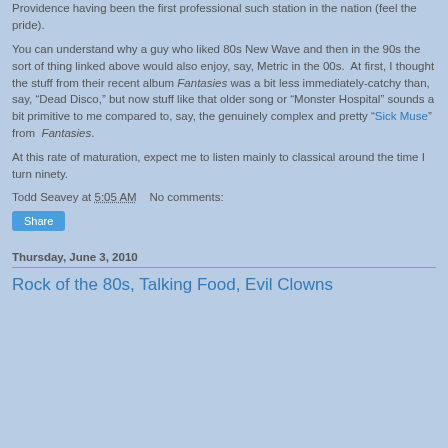Providence having been the first professional such station in the nation (feel the pride).
You can understand why a guy who liked 80s New Wave and then in the 90s the sort of thing linked above would also enjoy, say, Metric in the 00s.  At first, I thought the stuff from their recent album Fantasies was a bit less immediately-catchy than, say, “Dead Disco,” but now stuff like that older song or “Monster Hospital” sounds a bit primitive to me compared to, say, the genuinely complex and pretty “Sick Muse” from  Fantasies.
At this rate of maturation, expect me to listen mainly to classical around the time I turn ninety.
Todd Seavey at 5:05 AM    No comments:
Share
Thursday, June 3, 2010
Rock of the 80s, Talking Food, Evil Clowns